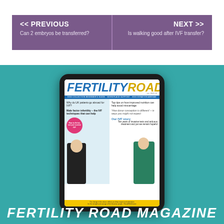<< PREVIOUS
Can 2 embryos be transferred?

NEXT >>
Is walking good after IVF transfer?
[Figure (photo): Tablet device displaying the cover of Fertility Road magazine, showing a couple and various article headlines about IVF and fertility treatments]
FERTILITY ROAD MAGAZINE